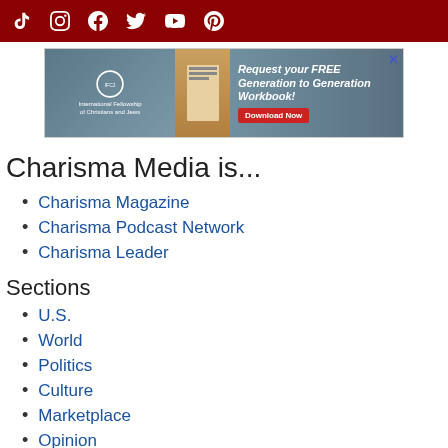Social media icons: TikTok, Instagram, Facebook, Twitter, YouTube, Pinterest
[Figure (infographic): Advertisement banner: International Fellowship of Christians and Jews - Request your FREE Generation to Generation Workbook! Download Now]
Charisma Media is...
Charisma Magazine
Charisma Podcast Network
Charisma Leader
Sections
U.S.
World
Politics
Culture
Marketplace
Opinion
Charisma Magazine Site
Subscribe to Charisma Magazine